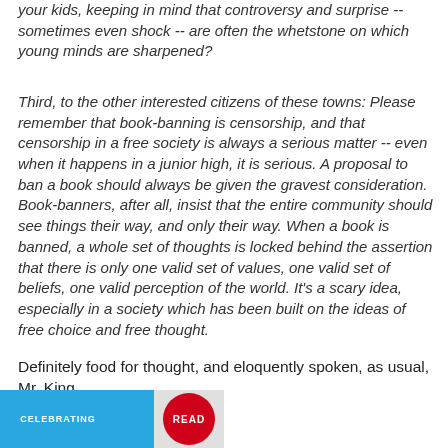your kids, keeping in mind that controversy and surprise -- sometimes even shock -- are often the whetstone on which young minds are sharpened?
Third, to the other interested citizens of these towns: Please remember that book-banning is censorship, and that censorship in a free society is always a serious matter -- even when it happens in a junior high, it is serious. A proposal to ban a book should always be given the gravest consideration. Book-banners, after all, insist that the entire community should see things their way, and only their way. When a book is banned, a whole set of thoughts is locked behind the assertion that there is only one valid set of values, one valid set of beliefs, one valid perception of the world. It's a scary idea, especially in a society which has been built on the ideas of free choice and free thought.
Definitely food for thought, and eloquently spoken, as usual, Mr. King.
[Figure (infographic): Blue banner image with 'CELEBRATING' text and a red circular 'READ' badge on the right side.]